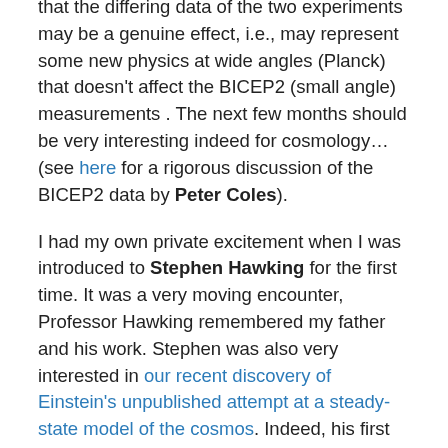that the differing data of the two experiments may be a genuine effect, i.e., may represent some new physics at wide angles (Planck) that doesn't affect the BICEP2 (small angle) measurements . The next few months should be very interesting indeed for cosmology…(see here for a rigorous discussion of the BICEP2 data by Peter Coles).
I had my own private excitement when I was introduced to Stephen Hawking for the first time. It was a very moving encounter, Professor Hawking remembered my father and his work. Stephen was also very interested in our recent discovery of Einstein's unpublished attempt at a steady-state model of the cosmos. Indeed, his first remark to me was that steady-state cosmic models were the dominant cosmic paradigm when he started his research career at Cambridge all those years ago. He asked me to send him a copy of Einstein's paper and I had a stressful evening